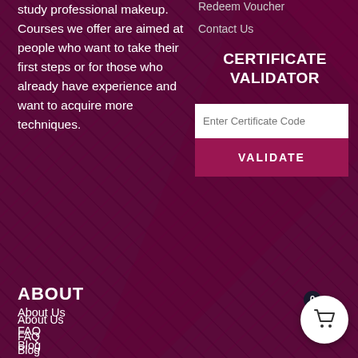study professional makeup. Courses we offer are aimed at people who want to take their first steps or for those who already have experience and want to acquire more techniques.
Read More
Redeem Voucher
Contact Us
CERTIFICATE VALIDATOR
Enter Certificate Code
VALIDATE
ABOUT
About Us
FAQ
Blog
Terms of use